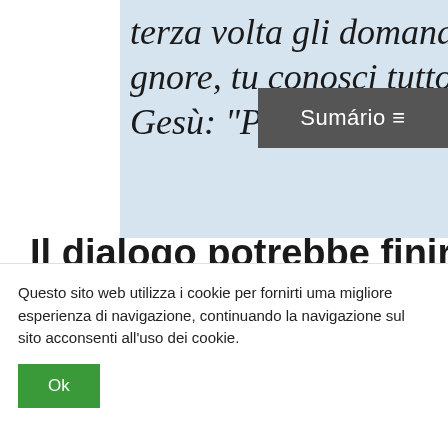terza volta gli domandas gnore, tu conosci tutto; t Gesù: "Pasci le mie pecc
Sumário ≡
Il dialogo potrebbe finire tro ha mostrato il suo limite, scienza di soltanto riuscire a difficoltà di fare un passo in de" lasciava perplesso Pietr sentendo le sue risposte, ess
Questo sito web utilizza i cookie per fornirti uma migliore esperienza di navigazione, continuando la navigazione sul sito acconsenti all'uso dei cookie.
Ok